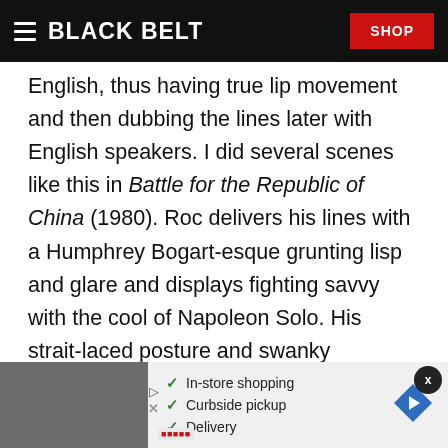BLACK BELT | SHOP
English, thus having true lip movement and then dubbing the lines later with English speakers. I did several scenes like this in Battle for the Republic of China (1980). Roc delivers his lines with a Humphrey Bogart-esque grunting lisp and glare and displays fighting savvy with the cool of Napoleon Solo. His strait-laced posture and swanky placement of look-away kicks (looks in the opposite direction a split second before making contact) are alive
[Figure (screenshot): Advertisement overlay showing checkmarks for In-store shopping, Curbside pickup, and Delivery, with a navigation arrow icon and a close button]